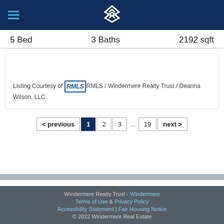Windermere Real Estate navigation header with logo
5 Bed   3 Baths   2192 sqft
Listing Courtesy of RMLS / Windermere Realty Trust / Deanna Wilson, LLC
< previous  1  2  3  ...  19  next >
Windermere Realty Trust - Windermere  Terms of Use & Privacy Policy  Accessibility Statement | Fair Housing Notice  © 2022 Windermere Real Estate